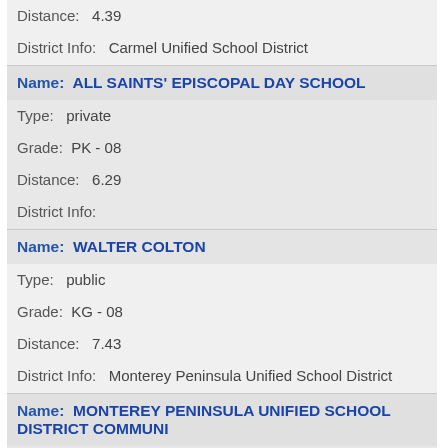Distance:   4.39
District Info:   Carmel Unified School District
Name:   ALL SAINTS' EPISCOPAL DAY SCHOOL
Type:   private
Grade:   PK - 08
Distance:   6.29
District Info:
Name:   WALTER COLTON
Type:   public
Grade:   KG - 08
Distance:   7.43
District Info:   Monterey Peninsula Unified School District
Name:   MONTEREY PENINSULA UNIFIED SCHOOL DISTRICT COMMUNI
Type:   public
Grade:   06 - 08
Distance:   7.84